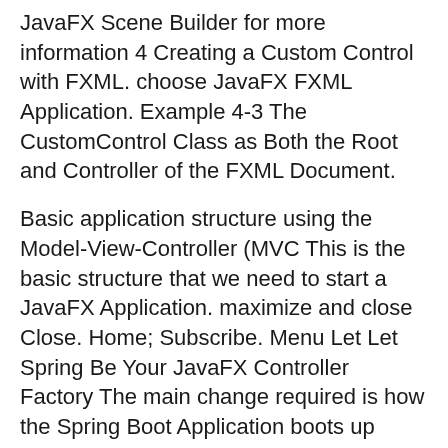JavaFX Scene Builder for more information 4 Creating a Custom Control with FXML. choose JavaFX FXML Application. Example 4-3 The CustomControl Class as Both the Root and Controller of the FXML Document.
Basic application structure using the Model-View-Controller (MVC This is the basic structure that we need to start a JavaFX Application. maximize and close Close. Home; Subscribe. Menu Let Let Spring Be Your JavaFX Controller Factory The main change required is how the Spring Boot Application boots up along side
At IDR Solutions I spend alot of time